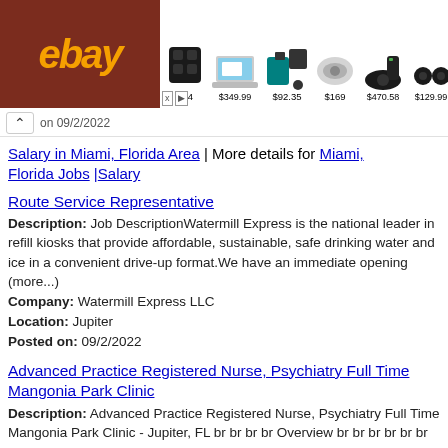[Figure (screenshot): eBay advertisement banner showing products with prices: $94, $349.99, $92.35, $169, $470.58, $129.99]
...on 09/2/2022
Salary in Miami, Florida Area | More details for Miami, Florida Jobs |Salary
Route Service Representative
Description: Job DescriptionWatermill Express is the national leader in refill kiosks that provide affordable, sustainable, safe drinking water and ice in a convenient drive-up format.We have an immediate opening (more...)
Company: Watermill Express LLC
Location: Jupiter
Posted on: 09/2/2022
Advanced Practice Registered Nurse, Psychiatry Full Time Mangonia Park Clinic
Description: Advanced Practice Registered Nurse, Psychiatry Full Time Mangonia Park Clinic - Jupiter, FL br br br br Overview br br br br br br This is a professional position in which the incumbent (more...)